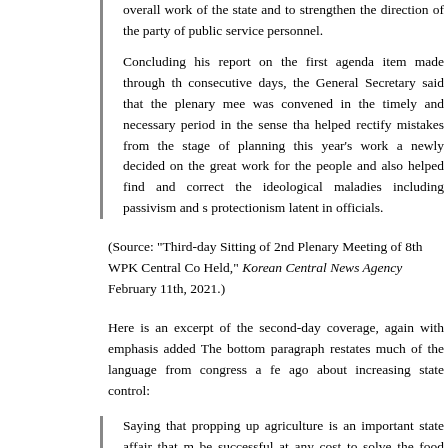overall work of the state and to strengthen the direction of the party of public service personnel.
Concluding his report on the first agenda item made through the consecutive days, the General Secretary said that the plenary meeting was convened in the timely and necessary period in the sense that it helped rectify mistakes from the stage of planning this year's work and newly decided on the great work for the people and also helped find and correct the ideological maladies including passivism and self-protectionism latent in officials.
(Source: "Third-day Sitting of 2nd Plenary Meeting of 8th WPK Central Committee Held," Korean Central News Agency February 11th, 2021.)
Here is an excerpt of the second-day coverage, again with emphasis added. The bottom paragraph restates much of the language from congress a few years ago about increasing state control:
Saying that propping up agriculture is an important state affair that must be successful at any cost to solve the food problem for the people and successfully push ahead with the socialist construction, the General Secretary analyzed the achievements and experience gained in the agricultural field for the recent several years and set forth tasks of stably and steadily developing the agricultural production based on them.
Emphasized in the report were the issues of taking prompt steps and measures for supplying farming materials on which success or failure of farming for this year hinges for the present, pushing ahead with the work